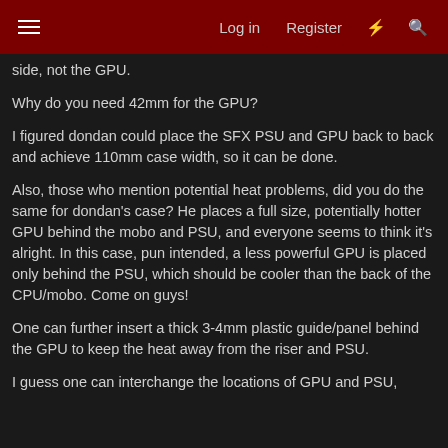Log in | Register
side, not the GPU.
Why do you need 42mm for the GPU?
I figured dondan could place the SFX PSU and GPU back to back and achieve 110mm case width, so it can be done.
Also, those who mention potential heat problems, did you do the same for dondan's case? He places a full size, potentially hotter GPU behind the mobo and PSU, and everyone seems to think it's alright. In this case, pun intended, a less powerful GPU is placed only behind the PSU, which should be cooler than the back of the CPU/mobo. Come on guys!
One can further insert a thick 3-4mm plastic guide/panel behind the GPU to keep the heat away from the riser and PSU.
I guess one can interchange the locations of GPU and PSU,